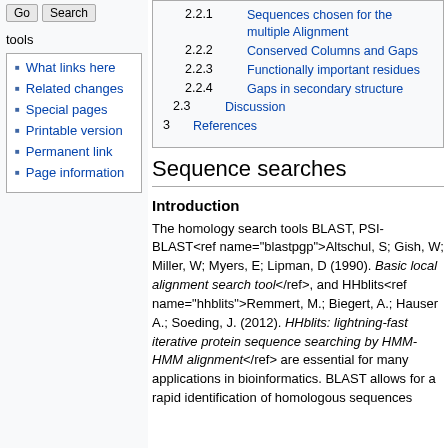What links here
Related changes
Special pages
Printable version
Permanent link
Page information
2.2.1 Sequences chosen for the multiple Alignment
2.2.2 Conserved Columns and Gaps
2.2.3 Functionally important residues
2.2.4 Gaps in secondary structure
2.3 Discussion
3 References
Sequence searches
Introduction
The homology search tools BLAST, PSI-BLAST<ref name="blastpgp">Altschul, S; Gish, W; Miller, W; Myers, E; Lipman, D (1990). Basic local alignment search tool</ref>, and HHblits<ref name="hhblits">Remmert, M.; Biegert, A.; Hauser A.; Soeding, J. (2012). HHblits: lightning-fast iterative protein sequence searching by HMM-HMM alignment</ref> are essential for many applications in bioinformatics. BLAST allows for a rapid identification of homologous sequences